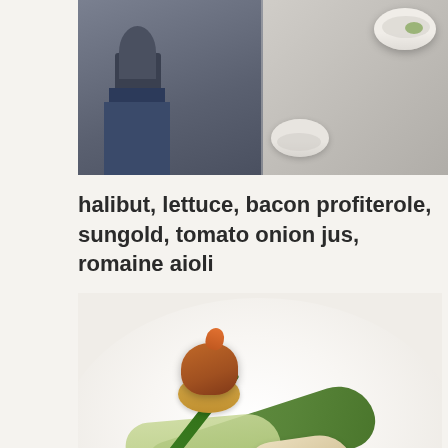[Figure (photo): Top photo showing a person in jeans on the left side and white bowls with green food on the right side, in a kitchen setting]
halibut, lettuce, bacon profiterole, sungold, tomato onion jus, romaine aioli
[Figure (photo): Plated dish of halibut with bacon profiterole, sungold tomatoes, green sauce, haricot vert green bean, and romaine aioli on a white plate]